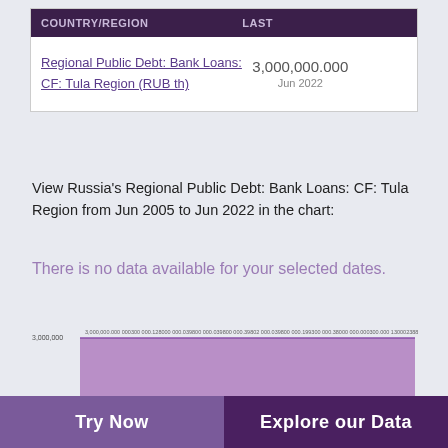| COUNTRY/REGION | LAST |
| --- | --- |
| Regional Public Debt: Bank Loans: CF: Tula Region (RUB th) | 3,000,000.000
Jun 2022 |
View Russia's Regional Public Debt: Bank Loans: CF: Tula Region from Jun 2005 to Jun 2022 in the chart:
There is no data available for your selected dates.
[Figure (area-chart): Area chart showing Regional Public Debt Bank Loans CF Tula Region, flat line at 3,000,000 value, purple filled area, x-axis shows multiple date labels, y-axis label shows 3,000,000]
Try Now | Explore our Data